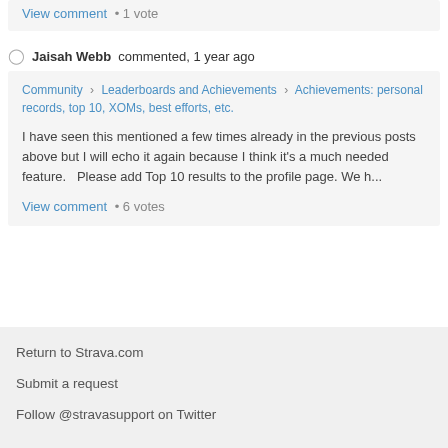View comment  •  1 vote
Jaisah Webb commented, 1 year ago
Community › Leaderboards and Achievements › Achievements: personal records, top 10, XOMs, best efforts, etc.
I have seen this mentioned a few times already in the previous posts above but I will echo it again because I think it's a much needed feature.   Please add Top 10 results to the profile page. We h...
View comment  •  6 votes
Return to Strava.com
Submit a request
Follow @stravasupport on Twitter